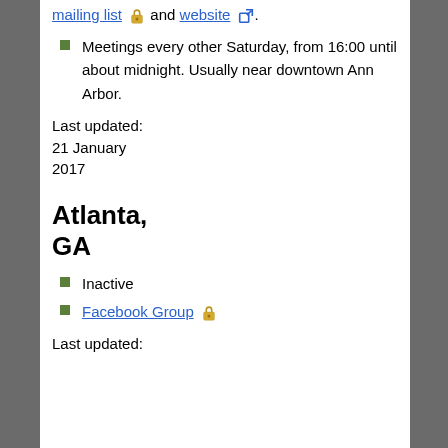mailing list and website.
Meetings every other Saturday, from 16:00 until about midnight. Usually near downtown Ann Arbor.
Last updated: 21 January 2017
Atlanta, GA
Inactive
Facebook Group
Last updated: